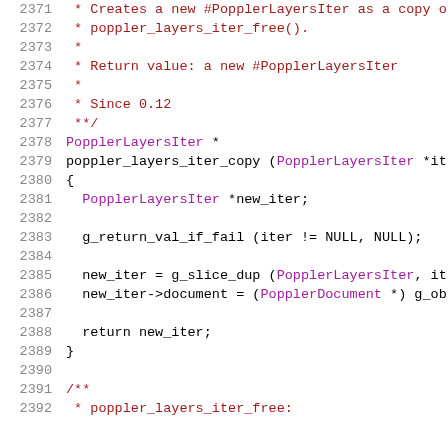Source code listing, lines 2371-2392, C code for poppler_layers_iter_copy function
2371  * Creates a new #PopplerLayersIter as a copy o
2372   * poppler_layers_iter_free().
2373   *
2374   * Return value: a new #PopplerLayersIter
2375   *
2376   * Since 0.12
2377   **/
2378  PopplerLayersIter *
2379  poppler_layers_iter_copy (PopplerLayersIter *it
2380  {
2381    PopplerLayersIter *new_iter;
2382
2383    g_return_val_if_fail (iter != NULL, NULL);
2384
2385    new_iter = g_slice_dup (PopplerLayersIter, it
2386    new_iter->document = (PopplerDocument *) g_ob
2387
2388    return new_iter;
2389  }
2390
2391  /**
2392   * poppler_layers_iter_free: